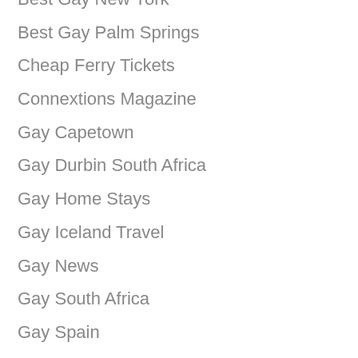Best Gay New York
Best Gay Palm Springs
Cheap Ferry Tickets
Connextions Magazine
Gay Capetown
Gay Durbin South Africa
Gay Home Stays
Gay Iceland Travel
Gay News
Gay South Africa
Gay Spain
Gay Tel Aviv
Iceland National Queer Association